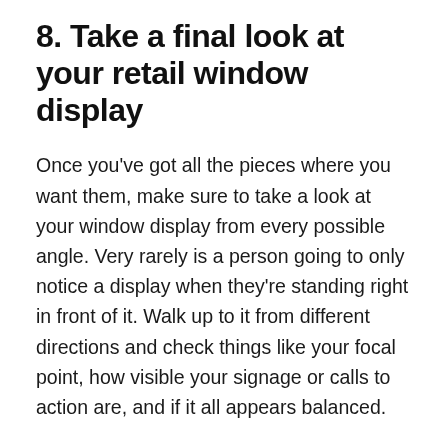8. Take a final look at your retail window display
Once you've got all the pieces where you want them, make sure to take a look at your window display from every possible angle. Very rarely is a person going to only notice a display when they're standing right in front of it. Walk up to it from different directions and check things like your focal point, how visible your signage or calls to action are, and if it all appears balanced.
If you're satisfied with the results, congratulations, your store window display is